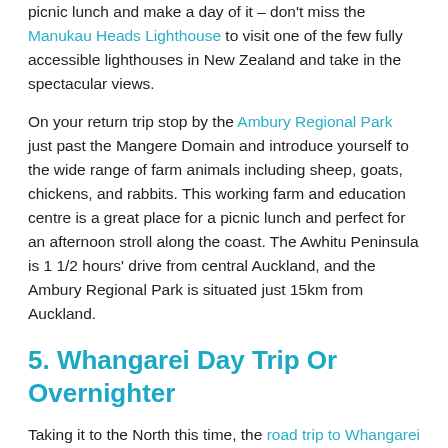picnic lunch and make a day of it – don't miss the Manukau Heads Lighthouse to visit one of the few fully accessible lighthouses in New Zealand and take in the spectacular views.
On your return trip stop by the Ambury Regional Park just past the Mangere Domain and introduce yourself to the wide range of farm animals including sheep, goats, chickens, and rabbits. This working farm and education centre is a great place for a picnic lunch and perfect for an afternoon stroll along the coast. The Awhitu Peninsula is 1 1/2 hours' drive from central Auckland, and the Ambury Regional Park is situated just 15km from Auckland.
5. Whangarei Day Trip Or Overnighter
Taking it to the North this time, the road trip to Whangarei is roughly 2.5 hours' drive from